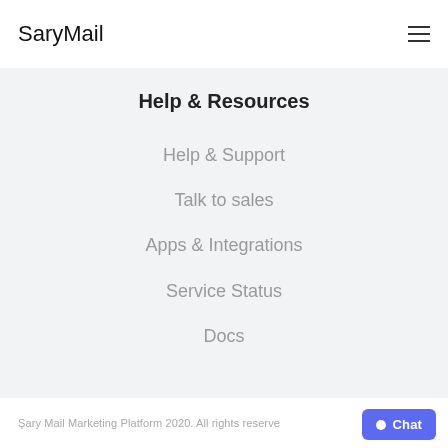SaryMail
Help & Resources
Help & Support
Talk to sales
Apps & Integrations
Service Status
Docs
Şary Mail Marketing Platform 2020. All rights reserve